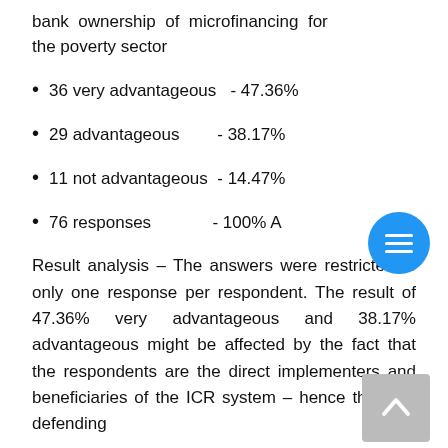bank ownership of microfinancing for the poverty sector
36 very advantageous  - 47.36%
29 advantageous       - 38.17%
11 not advantageous  - 14.47%
76 responses          - 100% A
Result analysis – The answers were restricted to only one response per respondent. The result of 47.36% very advantageous and 38.17% advantageous might be affected by the fact that the respondents are the direct implementers and beneficiaries of the ICR system – hence they are defending